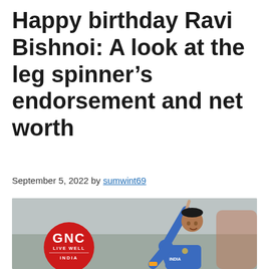Happy birthday Ravi Bishnoi: A look at the leg spinner's endorsement and net worth
September 5, 2022 by sumwint69
[Figure (photo): Ravi Bishnoi in blue India cricket jersey celebrating with finger pointed up, with GNC Live Well India red circular logo overlaid on bottom left]